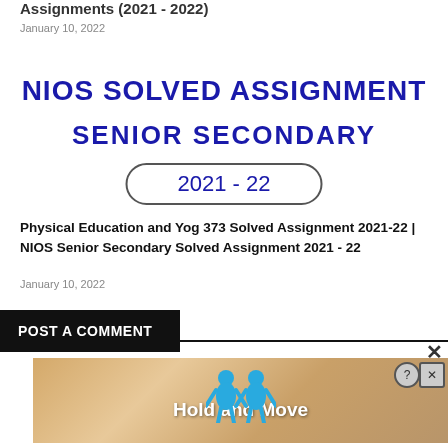Assignments (2021 - 2022)
January 10, 2022
NIOS SOLVED ASSIGNMENT
SENIOR SECONDARY
2021 - 22
Physical Education and Yog 373 Solved Assignment 2021-22 | NIOS Senior Secondary Solved Assignment 2021 - 22
January 10, 2022
POST A COMMENT
[Figure (screenshot): Advertisement banner showing two blue figures and 'Hold and Move' text with help and close icons]